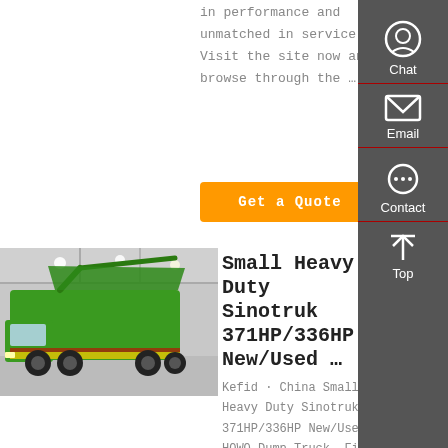in performance and unmatched in service. Visit the site now and browse through the …
Get a Quote
[Figure (photo): Green Sinotruk HOWO heavy duty dump truck at an exhibition hall]
Small Heavy Duty Sinotruk 371HP/336HP New/Used …
Kefid · China Small Heavy Duty Sinotruk 371HP/336HP New/Used HOWO Dump Truck, Find details about China